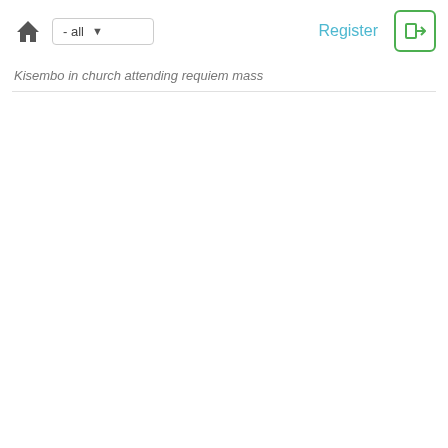home - all Register →
Kisembo in church attending requiem mass